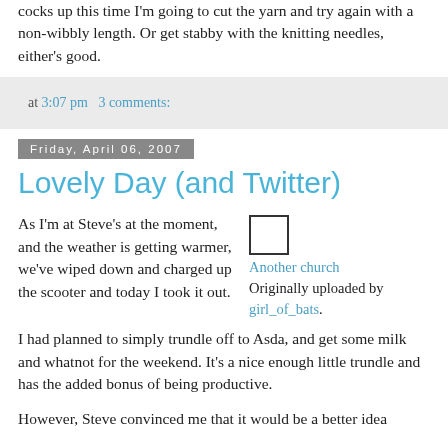cocks up this time I'm going to cut the yarn and try again with a non-wibbly length. Or get stabby with the knitting needles, either's good.
at 3:07 pm    3 comments:
Friday, April 06, 2007
Lovely Day (and Twitter)
As I'm at Steve's at the moment, and the weather is getting warmer, we've wiped down and charged up the scooter and today I took it out.
[Figure (photo): Small thumbnail image placeholder (checkbox/image icon) with caption: Another church. Originally uploaded by girl_of_bats.]
I had planned to simply trundle off to Asda, and get some milk and whatnot for the weekend. It's a nice enough little trundle and has the added bonus of being productive.
However, Steve convinced me that it would be a better idea